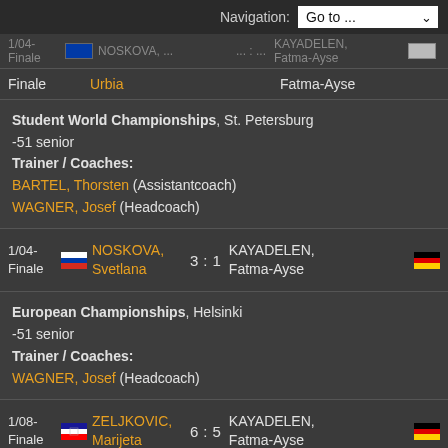Navigation: Go to ...
1/04- Finale | NOSKOVA, Urbia | KAYADELEN, Fatma-Ayse (top clipped row)
Student World Championships, St. Petersburg
-51 senior
Trainer / Coaches:
BARTEL, Thorsten (Assistantcoach)
WAGNER, Josef (Headcoach)
1/04-Finale | NOSKOVA, Svetlana 3 : 1 KAYADELEN, Fatma-Ayse
European Championships, Helsinki
-51 senior
Trainer / Coaches:
WAGNER, Josef (Headcoach)
1/08-Finale | ZELJKOVIC, Marijeta 6 : 5 KAYADELEN, Fatma-Ayse